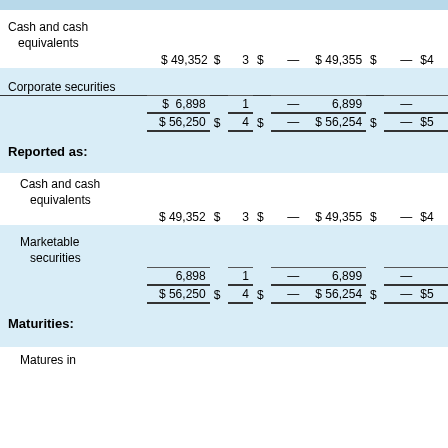|  | Cost |  | Gross Unrealized Gains |  | Gross Unrealized Losses |  | Fair Value |  | Cash and Cash Equivalents |  | Short-term Investments |
| --- | --- | --- | --- | --- | --- | --- | --- | --- | --- | --- | --- |
| Cash and cash equivalents |  |  |  |  |  |  |  |  |  |  |  |
|  | $49,352 | $ | 3 | $ | — | $49,355 | $ | — | $4 |
| Corporate securities |  |  |  |  |  |  |  |  |  |  |  |
|  | $6,898 |  | 1 |  | — | 6,899 |  | — |  |
|  | $56,250 | $ | 4 | $ | — | $56,254 | $ | — | $5 |
| Reported as: |  |  |  |  |  |  |  |  |  |  |  |
| Cash and cash equivalents |  |  |  |  |  |  |  |  |  |  |  |
|  | $49,352 | $ | 3 | $ | — | $49,355 | $ | — | $4 |
| Marketable securities |  |  |  |  |  |  |  |  |  |  |  |
|  | 6,898 |  | 1 |  | — | 6,899 |  | — |  |
|  | $56,250 | $ | 4 | $ | — | $56,254 | $ | — | $5 |
| Maturities: |  |  |  |  |  |  |  |  |  |  |  |
| Matures in |  |  |  |  |  |  |  |  |  |  |  |